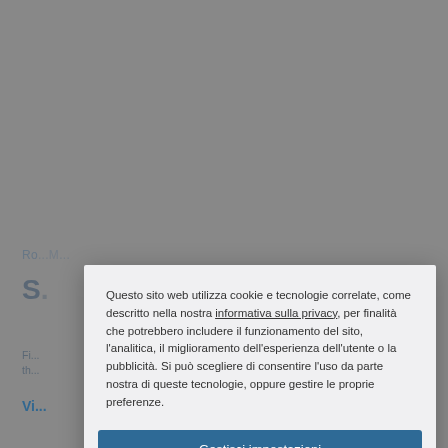Ro...M...
S...
Fi...
th...
Vi...
Questo sito web utilizza cookie e tecnologie correlate, come descritto nella nostra informativa sulla privacy, per finalità che potrebbero includere il funzionamento del sito, l'analitica, il miglioramento dell'esperienza dell'utente o la pubblicità. Si può scegliere di consentire l'uso da parte nostra di queste tecnologie, oppure gestire le proprie preferenze.
Gestisci impostazioni
Accetta Tutto
Rifiuta tutto
Informativa sui cookie